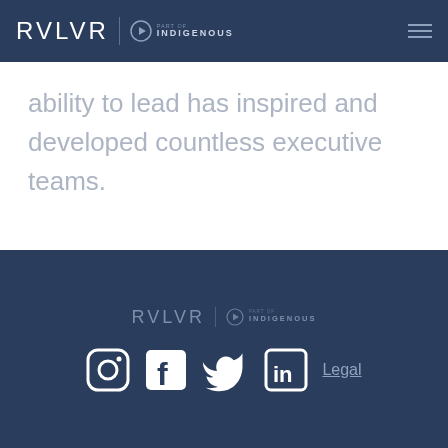RVLVR | PART OF INDIGENOUS
ability to lead has inspired and developed countless executive teams.
RVLVR | PART OF INDIGENOUS — Social icons: Instagram, Facebook, Twitter, LinkedIn — Legal